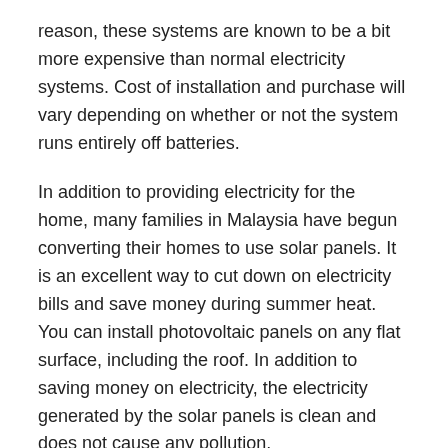reason, these systems are known to be a bit more expensive than normal electricity systems. Cost of installation and purchase will vary depending on whether or not the system runs entirely off batteries.
In addition to providing electricity for the home, many families in Malaysia have begun converting their homes to use solar panels. It is an excellent way to cut down on electricity bills and save money during summer heat. You can install photovoltaic panels on any flat surface, including the roof. In addition to saving money on electricity, the electricity generated by the solar panels is clean and does not cause any pollution.
In the northern part of Malaysia, a popular destination for those interested in converting their homes to photovoltaic power is Sarawak. There are a number of villages located along the coast which have become renowned for the production of solar panels. Because